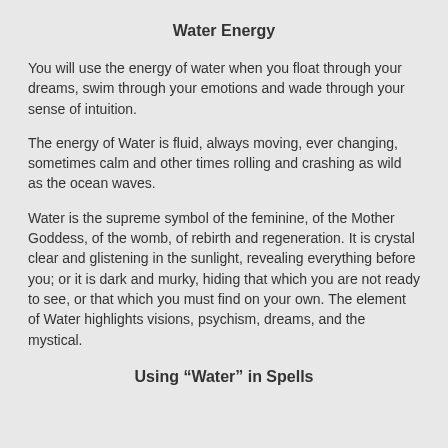Water Energy
You will use the energy of water when you float through your dreams, swim through your emotions and wade through your sense of intuition.
The energy of Water is fluid, always moving, ever changing, sometimes calm and other times rolling and crashing as wild as the ocean waves.
Water is the supreme symbol of the feminine, of the Mother Goddess, of the womb, of rebirth and regeneration. It is crystal clear and glistening in the sunlight, revealing everything before you; or it is dark and murky, hiding that which you are not ready to see, or that which you must find on your own. The element of Water highlights visions, psychism, dreams, and the mystical.
Using “Water” in Spells